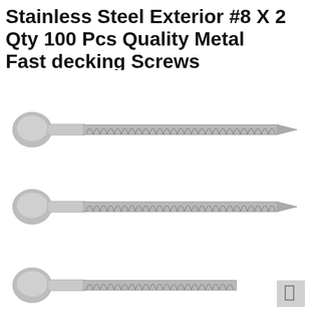Stainless Steel Exterior #8 X 2 Qty 100 Pcs Quality Metal Fast decking Screws
[Figure (photo): Three stainless steel flat-head decking screws arranged horizontally, each with a bugle/countersunk head on the left and a sharp point on the right, showing coarse threads along most of the shank. The screws are photographed on a white background.]